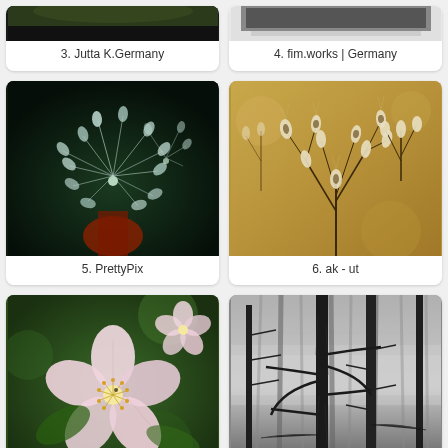[Figure (photo): Partial top of image, card 3 - Jutta K. Germany]
3. Jutta K.Germany
[Figure (photo): Partial top of image, card 4 - fim.works | Germany]
4. fim.works | Germany
[Figure (photo): Dandelion seeds close-up on dark background - PrettyPix]
5. PrettyPix
[Figure (photo): Dried seed pods on tan/golden background - ak - ut]
6. ak - ut
[Figure (photo): Apple blossom flower close-up - There was a time when apple trees were blooming]
7. There was a time when apple trees were blooming
[Figure (photo): Black and white foggy forest with bare trees - Kasztanki: Fog forest]
8. Kasztanki: Fog forest